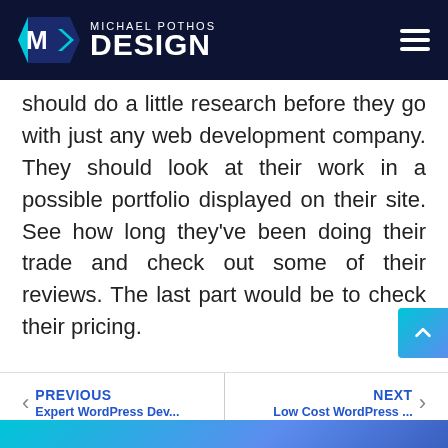MICHAEL POTHOS DESIGN
should do a little research before they go with just any web development company. They should look at their work in a possible portfolio displayed on their site. See how long they've been doing their trade and check out some of their reviews. The last part would be to check their pricing.
PREVIOUS Expert WordPress Dev... | NEXT Low Cost WordPress ...